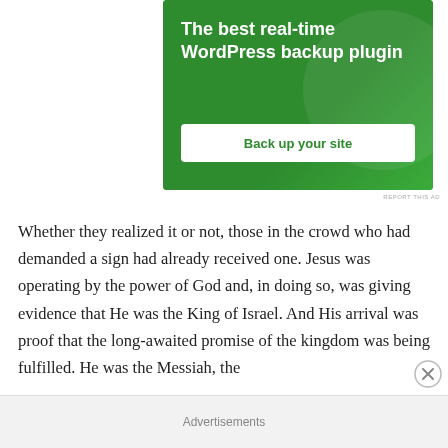[Figure (screenshot): Green advertisement banner for a WordPress backup plugin with headline 'The best real-time WordPress backup plugin' and a white button 'Back up your site']
REPORT THIS AD
Whether they realized it or not, those in the crowd who had demanded a sign had already received one. Jesus was operating by the power of God and, in doing so, was giving evidence that He was the King of Israel. And His arrival was proof that the long-awaited promise of the kingdom was being fulfilled. He was the Messiah, the
Advertisements